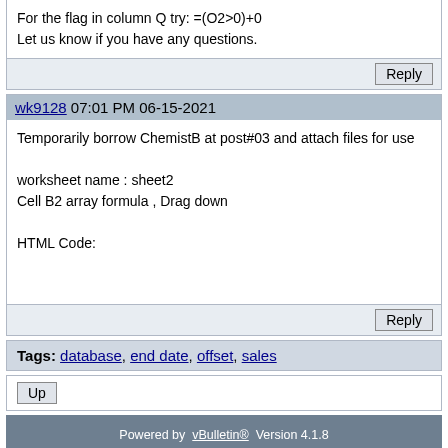For the flag in column Q try: =(O2>0)+0
Let us know if you have any questions.
Reply
wk9128 07:01 PM 06-15-2021
Temporarily borrow ChemistB at post#03 and attach files for use

worksheet name : sheet2
Cell B2 array formula , Drag down

HTML Code:
Reply
Tags: database, end date, offset, sales
Up
Powered by vBulletin® Version 4.1.8
Copyright © 2022 vBulletin Solutions, Inc. All rights reserved.
Search Engine Friendly URLs by vBSEO 3.6.0 RC 1
Forum Modifications By Marco Mamdouh
Mobile Style by Dartho... | Default Style